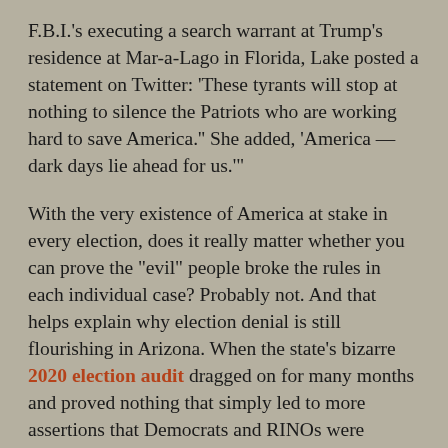F.B.I.'s executing a search warrant at Trump's residence at Mar-a-Lago in Florida, Lake posted a statement on Twitter: 'These tyrants will stop at nothing to silence the Patriots who are working hard to save America.' She added, 'America — dark days lie ahead for us.'
With the very existence of America at stake in every election, does it really matter whether you can prove the "evil" people broke the rules in each individual case? Probably not. And that helps explain why election denial is still flourishing in Arizona. When the state's bizarre 2020 election audit dragged on for many months and proved nothing that simply led to more assertions that Democrats and RINOs were suppressing the truth. Mark Finchem, the Republican nominee for secretary of State, has summed up the Arizona GOP's illogic by arguing that the burden of proof should be borne by those who consider legitimate elections